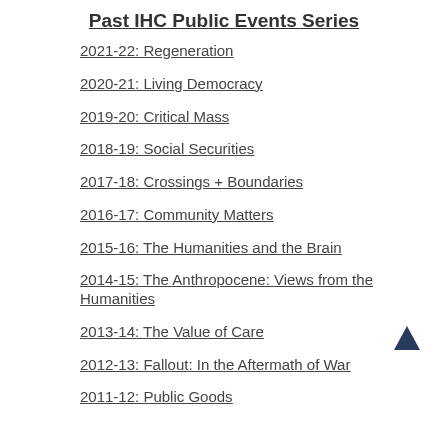Past IHC Public Events Series
2021-22: Regeneration
2020-21: Living Democracy
2019-20: Critical Mass
2018-19: Social Securities
2017-18: Crossings + Boundaries
2016-17: Community Matters
2015-16: The Humanities and the Brain
2014-15: The Anthropocene: Views from the Humanities
2013-14: The Value of Care
2012-13: Fallout: In the Aftermath of War
2011-12: Public Goods